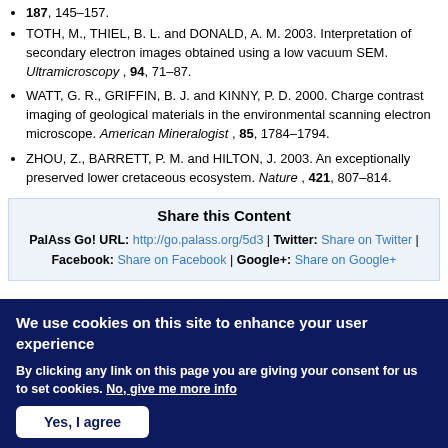187, 145–157.
TOTH, M., THIEL, B. L. and DONALD, A. M. 2003. Interpretation of secondary electron images obtained using a low vacuum SEM. Ultramicroscopy, 94, 71–87.
WATT, G. R., GRIFFIN, B. J. and KINNY, P. D. 2000. Charge contrast imaging of geological materials in the environmental scanning electron microscope. American Mineralogist, 85, 1784–1794.
ZHOU, Z., BARRETT, P. M. and HILTON, J. 2003. An exceptionally preserved lower cretaceous ecosystem. Nature, 421, 807–814.
Share this Content
PalAss Go! URL: http://go.palass.org/5d3 | Twitter: Share on Twitter | Facebook: Share on Facebook | Google+: Share on Google+
We use cookies on this site to enhance your user experience
By clicking any link on this page you are giving your consent for us to set cookies. No, give me more info
Yes, I agree